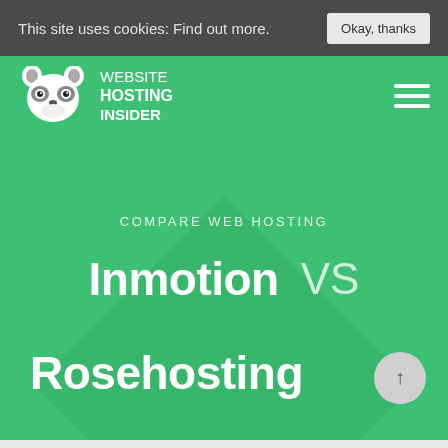This site uses cookies: Find out more. Okay, thanks
[Figure (logo): Website Hosting Insider raccoon logo with text WEBSITE HOSTING INSIDER]
COMPARE WEB HOSTING
Inmotion VS Rosehosting